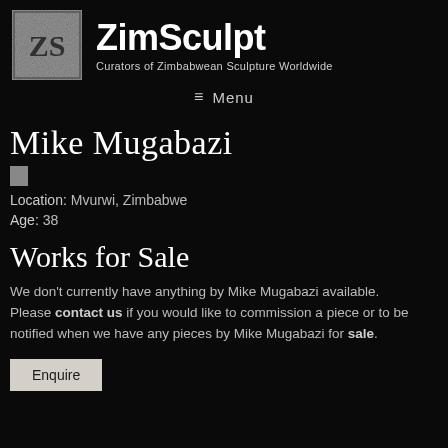ZimSculpt — Curators of Zimbabwean Sculpture Worldwide
Mike Mugabazi
Location: Mvurwi, Zimbabwe
Age: 38
Works for Sale
We don't currently have anything by Mike Mugabazi available. Please contact us if you would like to commission a piece or to be notified when we have any pieces by Mike Mugabazi for sale.
Enquire